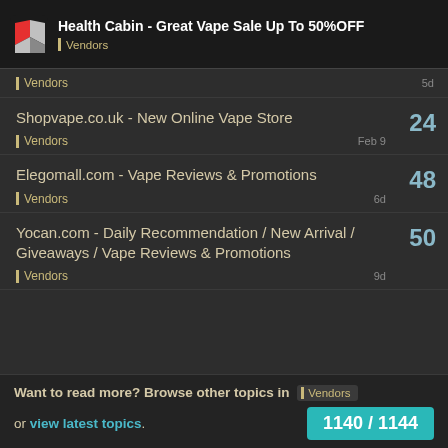Health Cabin - Great Vape Sale Up To 50%OFF | Vendors
Vendors | 5d
Shopvape.co.uk - New Online Vape Store | Vendors | Feb 9 | 24
Elegomall.com - Vape Reviews & Promotions | Vendors | 6d | 48
Yocan.com - Daily Recommendation / New Arrival / Giveaways / Vape Reviews & Promotions | Vendors | 9d | 50
Want to read more? Browse other topics in Vendors or view latest topics.
1140 / 1144